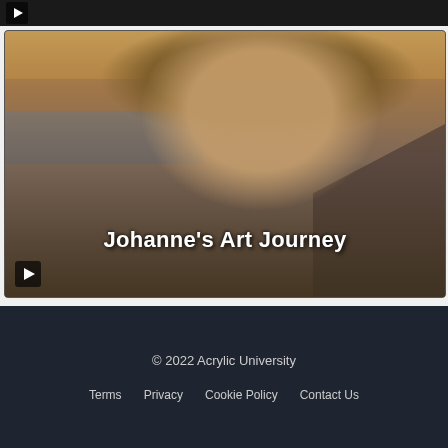[Figure (screenshot): Top strip of a video thumbnail showing a play button on dark background, partially cropped]
[Figure (screenshot): Video thumbnail of a woman wearing a cowboy hat at a beach scene at sunset with text overlay reading Johanne's Art Journey and a play button in the bottom left corner]
© 2022 Acrylic University
Terms   Privacy   Cookie Policy   Contact Us